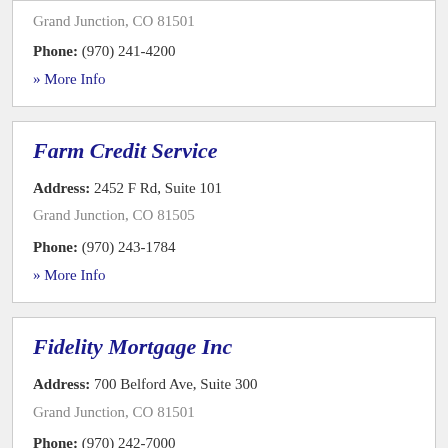Grand Junction, CO 81501
Phone: (970) 241-4200
» More Info
Farm Credit Service
Address: 2452 F Rd, Suite 101
Grand Junction, CO 81505
Phone: (970) 243-1784
» More Info
Fidelity Mortgage Inc
Address: 700 Belford Ave, Suite 300
Grand Junction, CO 81501
Phone: (970) 242-7000